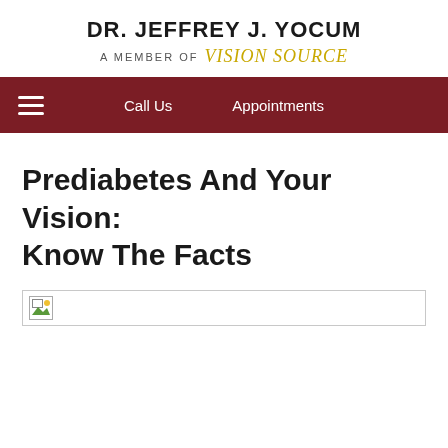DR. JEFFREY J. YOCUM
A MEMBER OF Vision Source
Call Us | Appointments
Prediabetes And Your Vision: Know The Facts
[Figure (photo): Broken image placeholder for an article image related to prediabetes and vision]